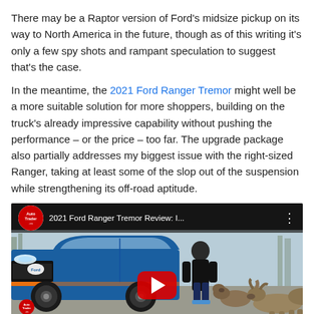There may be a Raptor version of Ford's midsize pickup on its way to North America in the future, though as of this writing it's only a few spy shots and rampant speculation to suggest that's the case.
In the meantime, the 2021 Ford Ranger Tremor might well be a more suitable solution for more shoppers, building on the truck's already impressive capability without pushing the performance – or the price – too far. The upgrade package also partially addresses my biggest issue with the right-sized Ranger, taking at least some of the slop out of the suspension while strengthening its off-road aptitude.
[Figure (screenshot): YouTube video thumbnail for '2021 Ford Ranger Tremor Review: I...' from AutoTrader.ca, showing a man standing beside a blue Ford Ranger truck with two German Shepherds in a parking lot. A red banner at the bottom reads 'Ranger' and a red play button is centered on the image.]